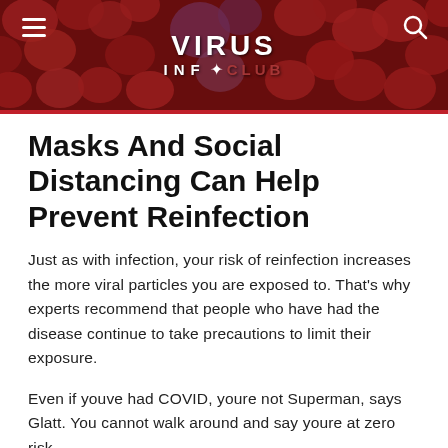[Figure (screenshot): Website header banner with microscopic virus/blood cell image background in red tones, showing 'VIRUS INF★ CLUB' logo in white text, hamburger menu icon on left, search icon on right]
Masks And Social Distancing Can Help Prevent Reinfection
Just as with infection, your risk of reinfection increases the more viral particles you are exposed to. That's why experts recommend that people who have had the disease continue to take precautions to limit their exposure.
Even if youve had COVID, youre not Superman, says Glatt. You cannot walk around and say youre at zero risk.
Because of this, researchers say that after recovering from COVID-19 you should continue to wear a mask when out in public, keep your distance from other people, wash your hands, and try to limit interactions to well-ventilated or